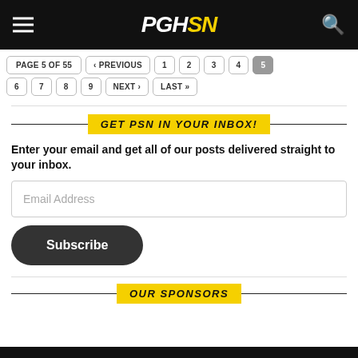PGHSN
PAGE 5 OF 55 | < PREVIOUS | 1 | 2 | 3 | 4 | 5
6 | 7 | 8 | 9 | NEXT > | LAST »
GET PSN IN YOUR INBOX!
Enter your email and get all of our posts delivered straight to your inbox.
Email Address
Subscribe
OUR SPONSORS